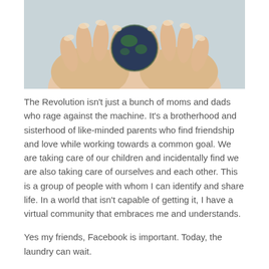[Figure (photo): Close-up photograph of two hands cupping a small dark blue knitted globe/ball, with a light background.]
The Revolution isn't just a bunch of moms and dads who rage against the machine. It's a brotherhood and sisterhood of like-minded parents who find friendship and love while working towards a common goal.  We are taking care of our children and incidentally find we are also taking care of ourselves and each other.  This is a group of people with whom I can identify and share life.  In a world that isn't capable of getting it, I have a virtual community that embraces me and understands.
Yes my friends, Facebook is important.  Today, the laundry can wait.